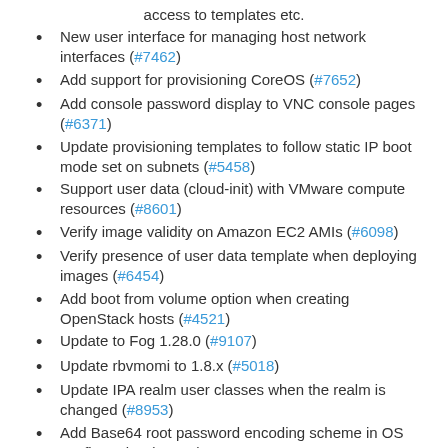access to templates etc.
New user interface for managing host network interfaces (#7462)
Add support for provisioning CoreOS (#7652)
Add console password display to VNC console pages (#6371)
Update provisioning templates to follow static IP boot mode set on subnets (#5458)
Support user data (cloud-init) with VMware compute resources (#8601)
Verify image validity on Amazon EC2 AMIs (#6098)
Verify presence of user data template when deploying images (#6454)
Add boot from volume option when creating OpenStack hosts (#4521)
Update to Fog 1.28.0 (#9107)
Update rbvmomi to 1.8.x (#5018)
Update IPA realm user classes when the realm is changed (#8953)
Add Base64 root password encoding scheme in OS configuration (#8890)
Make root password hash available to finish templates (#8490)